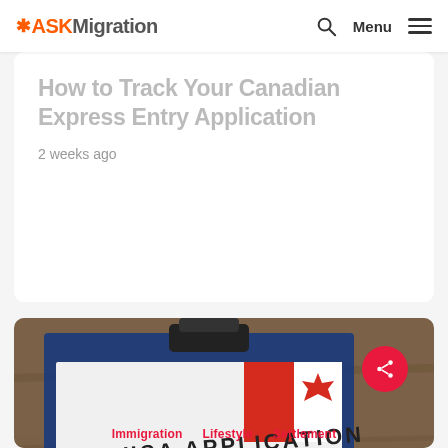ASKMigration — Menu
How to Track Your Canadian Express Entry Application
2 weeks ago
[Figure (photo): A clipboard with a VISA APPLICATION form, showing fields for Personal Information including name, address, date of birth, with a pen resting on the form. Canadian flag visible in the background on the form.]
Immigration  Lifestyle  Settlement